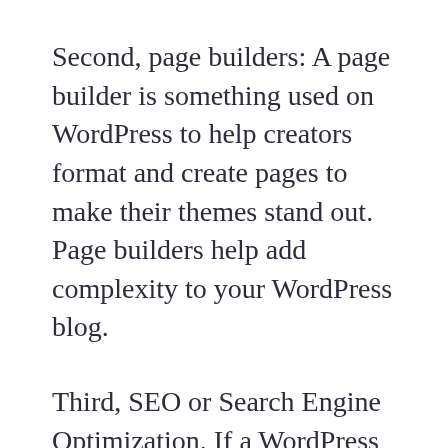Second, page builders: A page builder is something used on WordPress to help creators format and create pages to make their themes stand out. Page builders help add complexity to your WordPress blog.
Third, SEO or Search Engine Optimization. If a WordPress theme has SEO concepts in mind, it merely means that the theme considers the traffic your blog will get based on specific keywords from search engines.